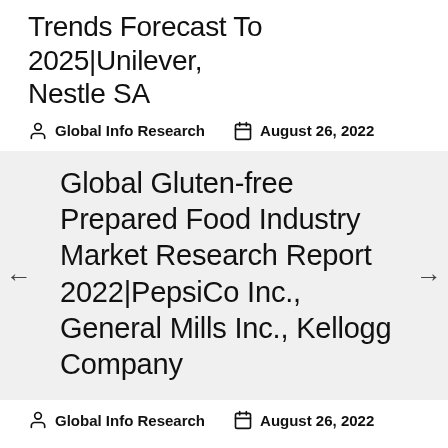Trends Forecast To 2025|Unilever, Nestle SA
Global Info Research   August 26, 2022
Global Gluten-free Prepared Food Industry Market Research Report 2022|PepsiCo Inc., General Mills Inc., Kellogg Company
Global Info Research   August 26, 2022
Global Gluten-free Soups and Sauces Industry Market Research Report 2022|Amy's Kitchen Inc.,